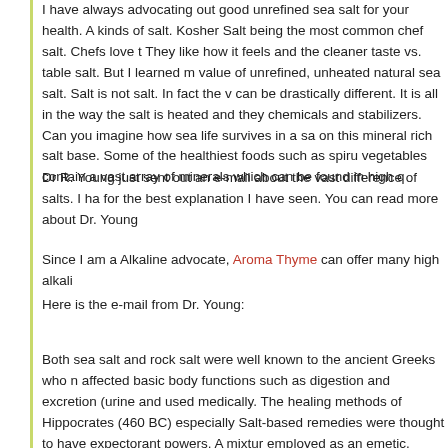I have always advocating out good unrefined sea salt for your health. As kinds of salt. Kosher Salt being the most common chef salt. Chefs love t They like how it feels and the cleaner taste vs. table salt. But I learned m value of unrefined, unheated natural sea salt. Salt is not salt. In fact the v can be drastically different. It is all in the way the salt is heated and they chemicals and stabilizers. Can you imagine how sea life survives in a sal on this mineral rich salt base. Some of the healthiest foods such as spiru vegetables contain a vast array of minerals which can be found in high q
Dr R. Young just sent out an e-mail about the vast difference of salts. I ha for the best explanation I have seen. You can read more about Dr. Young
Since I am a Alkaline advocate, Aroma Thyme can offer many high alkali
Here is the e-mail from Dr. Young:
Both sea salt and rock salt were well known to the ancient Greeks who n affected basic body functions such as digestion and excretion (urine and used medically. The healing methods of Hippocrates (460 BC) especially Salt-based remedies were thought to have expectorant powers. A mixtur employed as an emetic.
Drinking a mixture of two-thirds cow's milk and one-third salt-water, in the stomach was recommended as a cure for diseases of the spleen. A mixt applied topically to clean bad ulcers and salt-water was used externally a